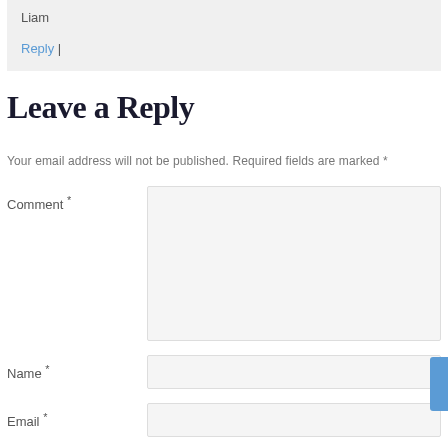Liam
Reply |
Leave a Reply
Your email address will not be published. Required fields are marked *
Comment *
Name *
Email *